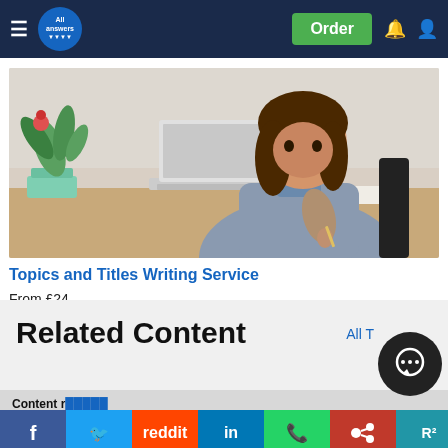All Answers | Order
[Figure (photo): Young woman with curly hair sitting at a wooden desk with an open book and a laptop, with a green plant in the background, reading or studying]
Topics and Titles Writing Service
From £24
Related Content
All T…
Content r…
Technology can be described as the use of scientific and